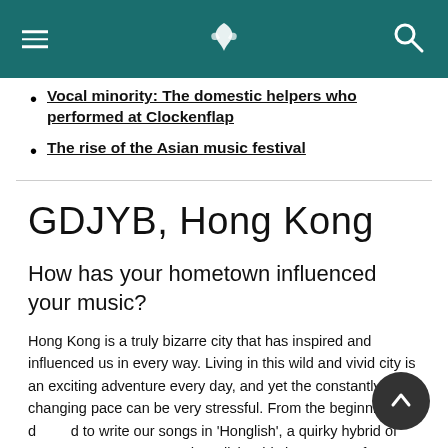Cathay Pacific navigation header with menu, logo, and search
Vocal minority: The domestic helpers who performed at Clockenflap
The rise of the Asian music festival
GDJYB, Hong Kong
How has your hometown influenced your music?
Hong Kong is a truly bizarre city that has inspired and influenced us in every way. Living in this wild and vivid city is an exciting adventure every day, and yet the constantly changing pace can be very stressful. From the beginning, we decided to write our songs in 'Honglish', a quirky hybrid of our native Cantonese and English. This is our way of expressing how